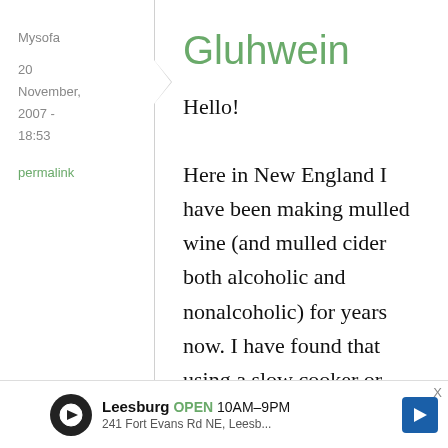Mysofa
20 November, 2007 - 18:53
permalink
Gluhwein
Hello!

Here in New England I have been making mulled wine (and mulled cider both alcoholic and nonalcoholic) for years now. I have found that using a slow cooker or crock pot really helps
Leesburg OPEN 10AM–9PM 241 Fort Evans Rd NE, Leesb...